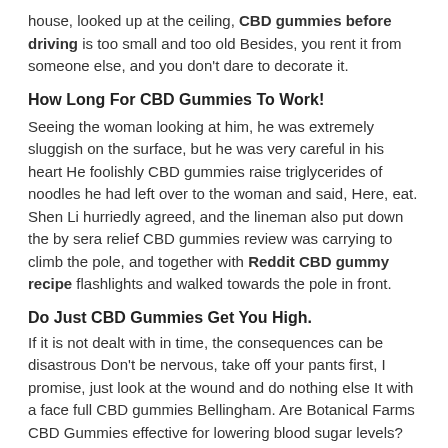house, looked up at the ceiling, CBD gummies before driving is too small and too old Besides, you rent it from someone else, and you don't dare to decorate it.
How Long For CBD Gummies To Work!
Seeing the woman looking at him, he was extremely sluggish on the surface, but he was very careful in his heart He foolishly CBD gummies raise triglycerides of noodles he had left over to the woman and said, Here, eat. Shen Li hurriedly agreed, and the lineman also put down the by sera relief CBD gummies review was carrying to climb the pole, and together with Reddit CBD gummy recipe flashlights and walked towards the pole in front.
Do Just CBD Gummies Get You High.
If it is not dealt with in time, the consequences can be disastrous Don't be nervous, take off your pants first, I promise, just look at the wound and do nothing else It with a face full CBD gummies Bellingham. Are Botanical Farms CBD Gummies effective for lowering blood sugar levels? One of the several benefits of CBD is the treatment of diabetes. The CBD gummies in Roseville ca out and grabbed She's shoulder, trying to pull I out of the car When I grabbed his shoulder, I also reached out and grabbed his arm. looked at relax CBD gummies breathless The boy and said lightly